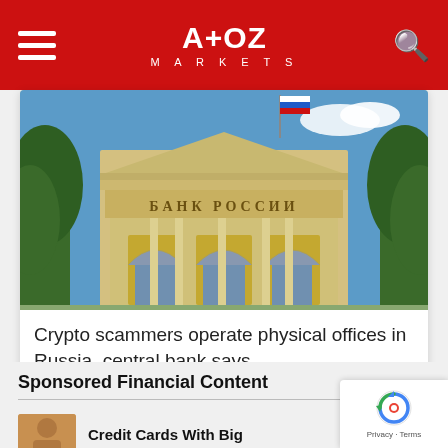A+OZ MARKETS
[Figure (photo): Photograph of the Bank of Russia (БАНК РОССИИ) building facade with trees and Russian flag against blue sky]
Crypto scammers operate physical offices in Russia, central bank says
Sponsored Financial Content
Credit Cards With Big